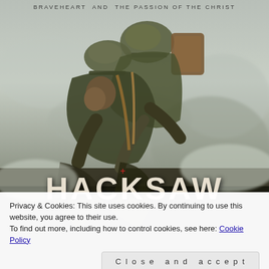[Figure (photo): Movie poster for Hacksaw Ridge showing a soldier carrying a wounded comrade on his back through smoke and battlefield. Header text reads 'BRAVEHEART AND THE PASSION OF THE CHRIST'. Large white text 'HACKSAW' visible at bottom with a red cross symbol above it.]
Privacy & Cookies: This site uses cookies. By continuing to use this website, you agree to their use.
To find out more, including how to control cookies, see here: Cookie Policy
Close and accept